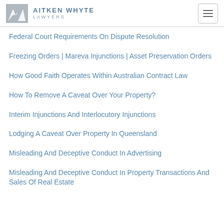AITKEN WHYTE LAWYERS
Federal Court Requirements On Dispute Resolution
Freezing Orders | Mareva Injunctions | Asset Preservation Orders
How Good Faith Operates Within Australian Contract Law
How To Remove A Caveat Over Your Property?
Interim Injunctions And Interlocutory Injunctions
Lodging A Caveat Over Property In Queensland
Misleading And Deceptive Conduct In Advertising
Misleading And Deceptive Conduct In Property Transactions And Sales Of Real Estate